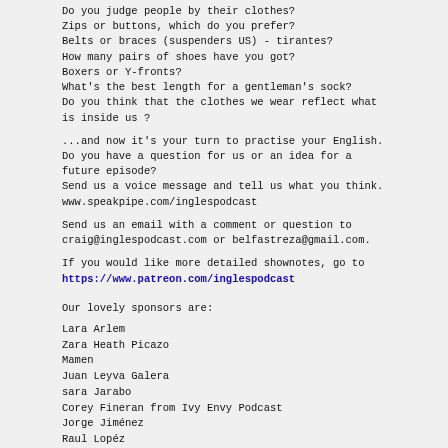Do you judge people by their clothes?
Zips or buttons, which do you prefer?
Belts or braces (suspenders US) - tirantes?
How many pairs of shoes have you got?
Boxers or Y-fronts?
What's the best length for a gentleman's sock?
Do you think that the clothes we wear reflect what is inside us ?
...and now it's your turn to practise your English. Do you have a question for us or an idea for a future episode?
Send us a voice message and tell us what you think.
www.speakpipe.com/inglespodcast
Send us an email with a comment or question to craig@inglespodcast.com or belfastreza@gmail.com.
If you would like more detailed shownotes, go to https://www.patreon.com/inglespodcast
Our lovely sponsors are:
Lara Arlem
Zara Heath Picazo
Mamen
Juan Leyva Galera
sara Jarabo
Corey Fineran from Ivy Envy Podcast
Jorge Jiménez
Raul Lopéz
Rafael
Daniel Contreras Aladro
Manuel Tarazona
Carlos Garrido
On next week's episode: Common Collocations with BREAK, CATCH and PAY
The main thing about it is Rita. The best thing about US ...